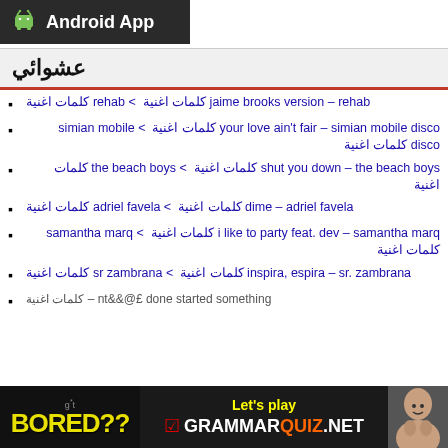[Figure (logo): Android App header logo with Android robot icon and text 'Android App' on dark background]
عشوائي
jaime brooks version – rehab كلمات اغنية > rehab كلمات اغنية
your love ain't fair – simian mobile disco كلمات اغنية > simian mobile disco كلمات اغنية
shut you down – the beach boys كلمات اغنية > the beach boys كلمات اغنية
dime – adriel favela كلمات اغنية > adriel favela كلمات اغنية
i like to party feat. dev – samantha marq كلمات اغنية > samantha marq كلمات اغنية
inspira, espira – sr. zambrana كلمات اغنية > sr zambrana كلمات اغنية
nt&&@£ done started something – كلمات اغنية
[Figure (advertisement): Footer advertisement: 'g*t BORED?? Let's play GRAMMARquiz.NET' with woman's face on dark background]